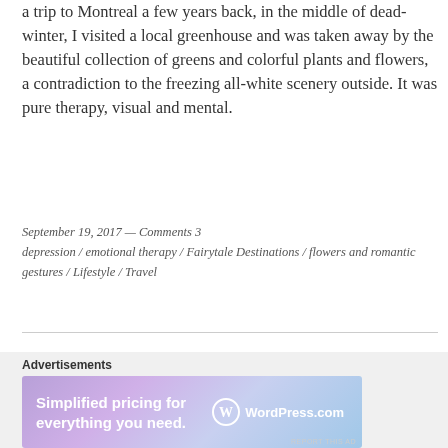a trip to Montreal a few years back, in the middle of dead-winter, I visited a local greenhouse and was taken away by the beautiful collection of greens and colorful plants and flowers, a contradiction to the freezing all-white scenery outside. It was pure therapy, visual and mental.
September 19, 2017 — Comments 3
depression / emotional therapy / Fairytale Destinations / flowers and romantic gestures / Lifestyle / Travel
[Figure (other): Advertisement banner for WordPress.com showing 'Simplified pricing for everything you need.' with WordPress.com logo on a purple-blue gradient background]